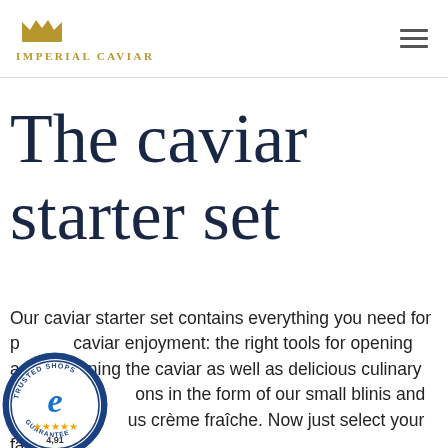IMPERIAL CAVIAR
The caviar starter set
Our caviar starter set contains everything you need for perfect caviar enjoyment: the right tools for opening and portioning the caviar as well as delicious culinary additions in the form of our small blinis and a delicious crème fraîche. Now just select your favorite caviar and begin to compose your...
[Figure (logo): Trusted Shops guarantee badge with rating 4,91 and gold stars]